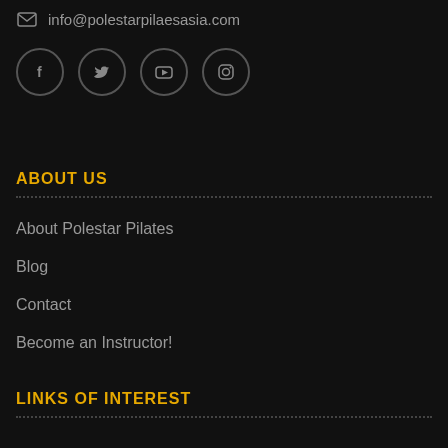info@polestarpilaesasia.com
[Figure (illustration): Four social media icon buttons in circles: Facebook, Twitter, YouTube, Instagram]
ABOUT US
About Polestar Pilates
Blog
Contact
Become an Instructor!
LINKS OF INTEREST